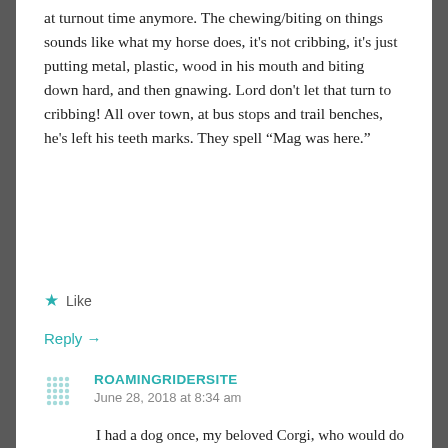at turnout time anymore. The chewing/biting on things sounds like what my horse does, it's not cribbing, it's just putting metal, plastic, wood in his mouth and biting down hard, and then gnawing. Lord don't let that turn to cribbing! All over town, at bus stops and trail benches, he's left his teeth marks. They spell “Mag was here.”
Like
Reply →
ROAMINGRIDERSITE
June 28, 2018 at 8:34 am
I had a dog once, my beloved Corgi, who would do the same thing. He would